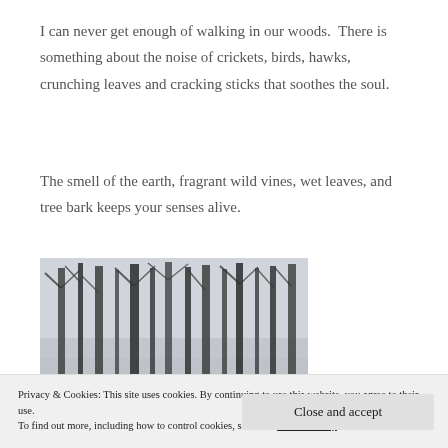I can never get enough of walking in our woods.  There is something about the noise of crickets, birds, hawks, crunching leaves and cracking sticks that soothes the soul.
The smell of the earth, fragrant wild vines, wet leaves, and tree bark keeps your senses alive.
[Figure (photo): Black and white photograph of bare winter trees in a wood, misty background]
Privacy & Cookies: This site uses cookies. By continuing to use this website, you agree to their use. To find out more, including how to control cookies, see here: Cookie Policy